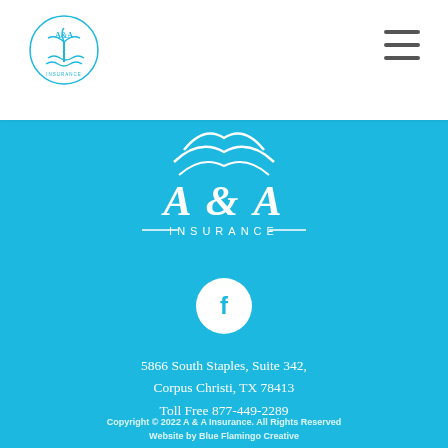[Figure (logo): A&A Insurance small logo in top-left header, circular design with palm tree and waves in teal/blue]
[Figure (logo): Large A&A Insurance white logo on blue background, featuring waves/bird design above stylized text A & A INSURANCE with decorative lines]
[Figure (logo): Facebook icon in white circle on blue background]
5866 South Staples, Suite 342, Corpus Christi, TX  78413 Toll Free 877-449-2289
Copyright © 2022 A & A Insurance. All Rights Reserved Website by Blue Flamingo Creative